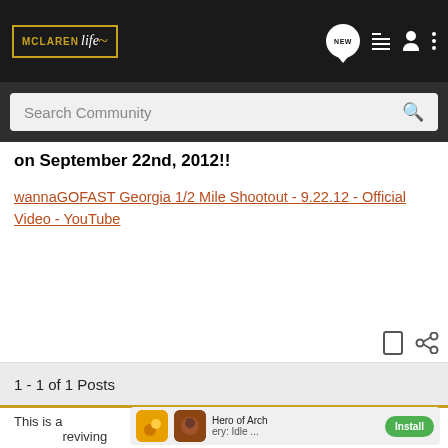McLaren Life — Navigation bar with logo, NEW, list, profile, and menu icons
Search Community
on September 22nd, 2012!!
wannaGOFAST Georgia 1/2 Mile Shootout - 9.22.12 - Official Video - YouTube
1 - 1 of 1 Posts
This is a ould be reviving